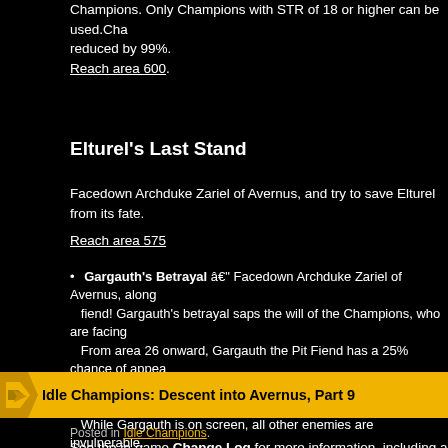Champions. Only Champions with STR of 18 or higher can be used. Cha... reduced by 99%.
Reach area 600.
Elturel's Last Stand
Facedown Archduke Zariel of Avernus, and try to save Elturel from its fate.
Reach area 575
Gargauth's Betrayal – Facedown Archduke Zariel of Avernus, along... fiend! Gargauth's betrayal saps the will of the Champions, who are facing... From area 26 onward, Gargauth the Pit Fiend has a 25% chance of appea... area. Whenever he doesn't spawn the chance increases by 25% (additively). While Gargauth is on screen, all other enemies are invulnerable.
Reach area 625.
See the in-game Change Log for more information, including a full list of chang... this update.
Idle Champions: Descent into Avernus, Part 9
Posted in Idle Champions.